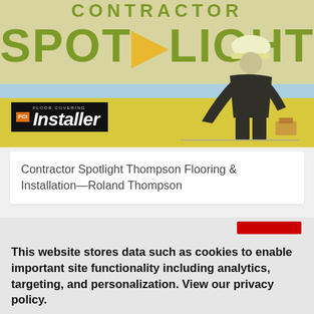[Figure (illustration): Banner image showing 'CONTRACTOR SPOTLIGHT' text in olive/green on a yellow background with a blue stripe, a worker in a hard hat installing flooring, and the FCI Floor Covering Installer logo in a black box at lower left.]
Contractor Spotlight Thompson Flooring & Installation—Roland Thompson
This website stores data such as cookies to enable important site functionality including analytics, targeting, and personalization. View our privacy policy.
Accept
Deny